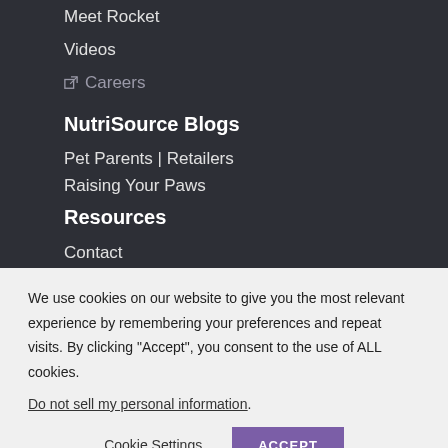Meet Rocket
Videos
↗ Careers
NutriSource Blogs
Pet Parents | Retailers
Raising Your Paws
Resources
Contact
We use cookies on our website to give you the most relevant experience by remembering your preferences and repeat visits. By clicking "Accept", you consent to the use of ALL cookies.
Do not sell my personal information.
Cookie Settings   ACCEPT